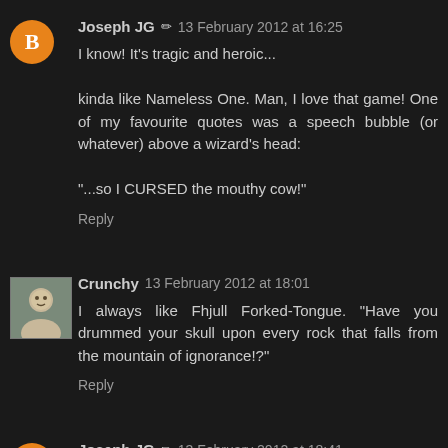Joseph JG ✏ 13 February 2012 at 16:25
I know! It's tragic and heroic...

kinda like Nameless One. Man, I love that game! One of my favourite quotes was a speech bubble (or whatever) above a wizard's head:

"...so I CURSED the mouthy cow!"
Reply
Crunchy 13 February 2012 at 18:01
I always like Fhjull Forked-Tongue. "Have you drummed your skull upon every rock that falls from the mountain of ignorance!?"
Reply
Joseph JG ✏ 13 February 2012 at 18:41
Haha! He was great! "Feh!" Poor, evil bastard.